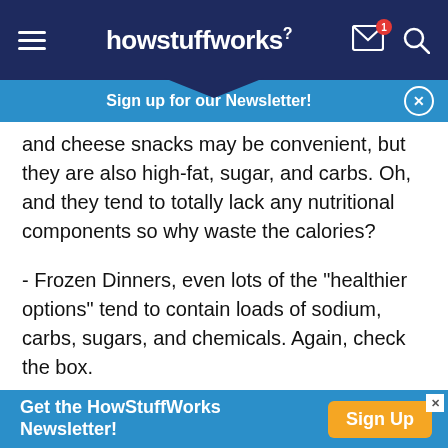howstuffworks
Sign up for our Newsletter!
and cheese snacks may be convenient, but they are also high-fat, sugar, and carbs. Oh, and they tend to totally lack any nutritional components so why waste the calories?
- Frozen Dinners, even lots of the "healthier options" tend to contain loads of sodium, carbs, sugars, and chemicals. Again, check the box.
- Packaged cakes, cookies, desserts. Just forget about them.
Get the HowStuffWorks Newsletter! Sign Up